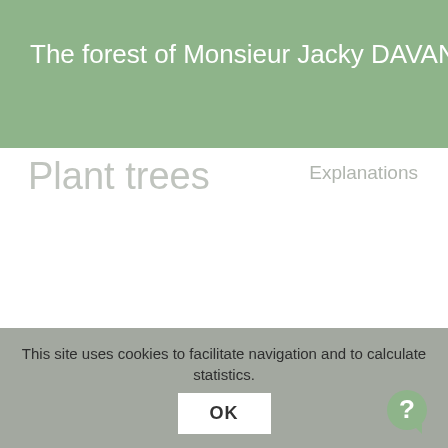The forest of Monsieur Jacky DAVANTURE
Plant trees
Explanations
This site uses cookies to facilitate navigation and to calculate statistics.
OK